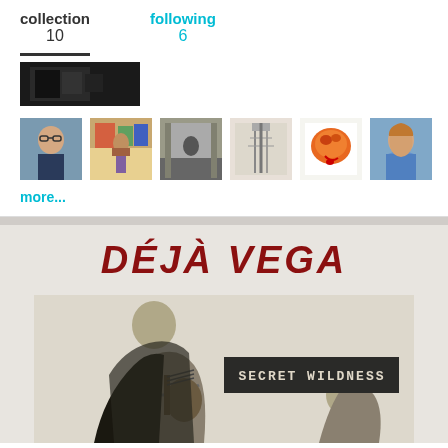collection 10
following 6
[Figure (screenshot): Partial dark photo thumbnail at top]
[Figure (photo): Six small profile/photo thumbnails in a row: man with glasses, person in colorful setting, person in store, industrial black and white, orange pastry, woman in blue]
more...
DÉJÀ VEGA
[Figure (photo): Album art for Secret Wildness by Déjà Vega showing band members playing guitar in black and white collage style with text SECRET WILDNESS]